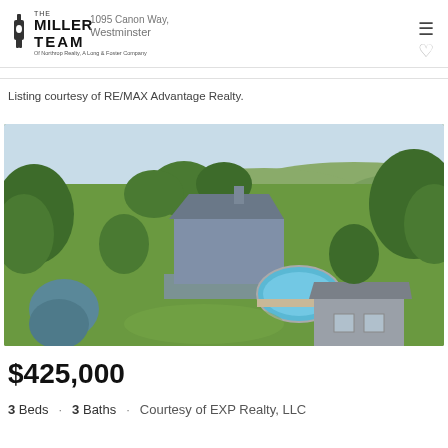The Miller Team of Northrop Realty, A Long & Foster Company
1095 Canon Way, Westminster
Listing courtesy of RE/MAX Advantage Realty.
[Figure (photo): Aerial drone photograph of a residential property showing a house with a deck, an above-ground pool, and detached garage surrounded by mature trees on a large grassy lot.]
$425,000
3 Beds · 3 Baths · Courtesy of EXP Realty, LLC